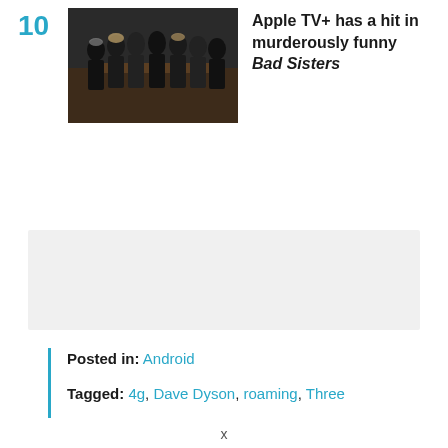[Figure (photo): Group of women dressed in black at what appears to be a funeral or formal event, standing in a row]
Apple TV+ has a hit in murderously funny Bad Sisters
[Figure (other): Advertisement placeholder — light grey rectangle]
Posted in: Android
Tagged: 4g, Dave Dyson, roaming, Three